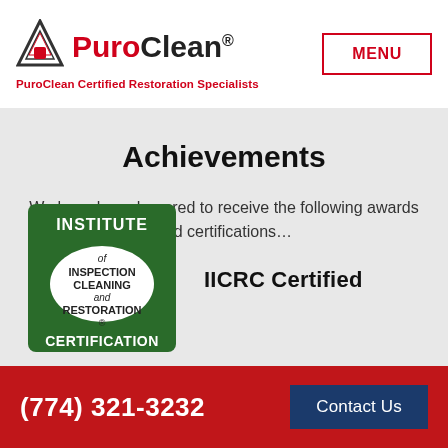[Figure (logo): PuroClean logo with triangle/house icon and red 'Puro' black 'Clean' text with registered trademark symbol]
PuroClean Certified Restoration Specialists
[Figure (other): MENU button with red border]
Achievements
We have been honored to receive the following awards and certifications...
[Figure (logo): IICRC Institute of Inspection Cleaning and Restoration Certification badge - green square with white oval]
IICRC Certified
(774) 321-3232   Contact Us